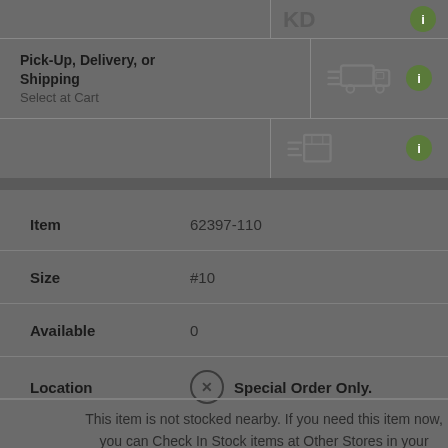Pick-Up, Delivery, or Shipping
Select at Cart
[Figure (illustration): Delivery truck icon with speed lines]
[Figure (illustration): Package/box icon with speed lines]
| Field | Value |
| --- | --- |
| Item | 62397-110 |
| Size | #10 |
| Available | 0 |
| Location | Special Order Only. |
This item is not stocked nearby. If you need this item now, you can Check In Stock items at Other Stores in your expanded area, or contact your